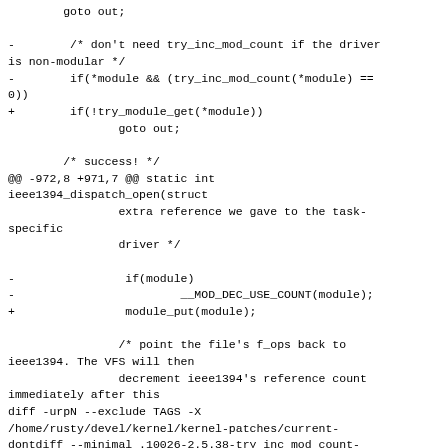goto out;

-        /* don't need try_inc_mod_count if the driver is non-modular */
-        if(*module && (try_inc_mod_count(*module) == 0))
+        if(!try_module_get(*module))
                 goto out;

         /* success! */
@@ -972,8 +971,7 @@ static int ieee1394_dispatch_open(struct
                 extra reference we gave to the task-specific
                 driver */

-                if(module)
-                        __MOD_DEC_USE_COUNT(module);
+                module_put(module);

                 /* point the file's f_ops back to ieee1394. The VFS will then
                 decrement ieee1394's reference count immediately after this
diff -urpN --exclude TAGS -X /home/rusty/devel/kernel/kernel-patches/current-dontdiff --minimal .10026-2.5.38-try_inc_mod_count-removal.pre/drivers/isdn/capi/kcapi.c .10026-2.5.38-try_inc_mod_count-removal/drivers/isdn/capi/kcapi.c
--- .10026-2.5.38-try_inc_mod_count-removal.pre/drivers/isdn/capi/kcapi.c   2002-05-29